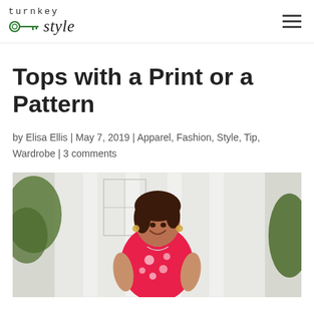turnkey style [logo with key icon and hamburger menu]
Tops with a Print or a Pattern
by Elisa Ellis | May 7, 2019 | Apparel, Fashion, Style, Tip, Wardrobe | 3 comments
[Figure (photo): Woman smiling outdoors wearing a pink floral top, standing in front of white columns and greenery]